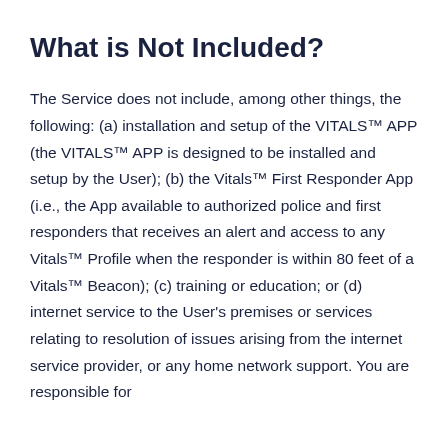What is Not Included?
The Service does not include, among other things, the following: (a) installation and setup of the VITALS™ APP (the VITALS™ APP is designed to be installed and setup by the User); (b) the Vitals™ First Responder App (i.e., the App available to authorized police and first responders that receives an alert and access to any Vitals™ Profile when the responder is within 80 feet of a Vitals™ Beacon); (c) training or education; or (d) internet service to the User's premises or services relating to resolution of issues arising from the internet service provider, or any home network support. You are responsible for